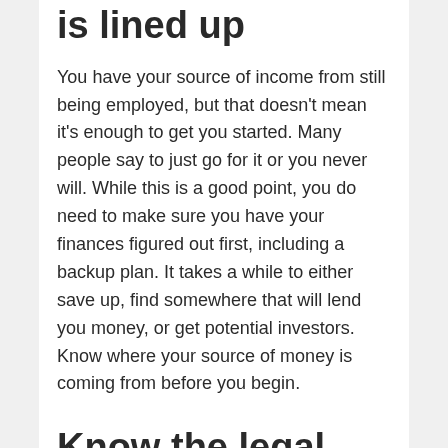is lined up
You have your source of income from still being employed, but that doesn't mean it's enough to get you started. Many people say to just go for it or you never will. While this is a good point, you do need to make sure you have your finances figured out first, including a backup plan. It takes a while to either save up, find somewhere that will lend you money, or get potential investors. Know where your source of money is coming from before you begin.
Know the legal requirements for starting a business
Getting the legal and tax issues correct the first time will be a huge time and money saver. It's much more difficult and expensive to correct the flaws after you've